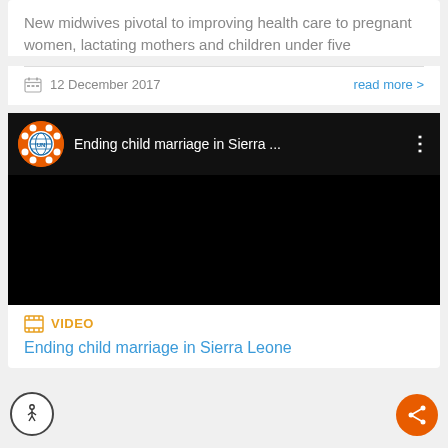New midwives pivotal to improving health care to pregnant women, lactating mothers and children under five
12 December 2017
read more >
[Figure (screenshot): YouTube-style embedded video player with black background, UN orange logo, title 'Ending child marriage in Sierra ...' and three-dot menu]
VIDEO
Ending child marriage in Sierra Leone